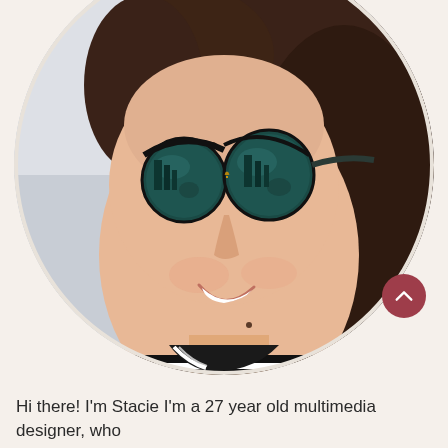[Figure (photo): A smiling young woman with dark hair wearing teal/dark round sunglasses and a black and white striped turtleneck top, photographed from the shoulders up in a circular cropped frame.]
Hi there! I'm Stacie I'm a 27 year old multimedia designer, who